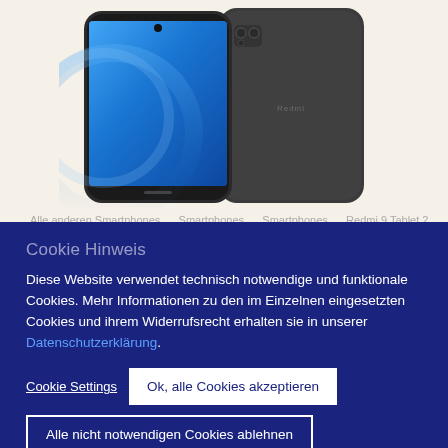[Figure (photo): Xiaomi Redmi smartphone shown from front and back. Front shows blue gradient screen, back shows dark gray/black color with Redmi logo. Displayed on a light beige background.]
Cookie Hinweis
Diese Website verwendet technisch notwendige und funktionale Cookies. Mehr Informationen zu den im Einzelnen eingesetzten Cookies und ihrem Widerrufsrecht erhalten sie in unserer Datenschutzerklärung.
Cookie Settings
Ok, alle Cookies akzeptieren
Alle nicht notwendigen Cookies ablehnen